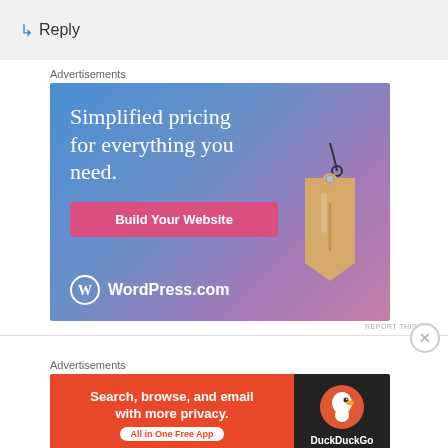↳ Reply
Advertisements
[Figure (illustration): WordPress.com advertisement: 'Simplified pricing for everything you need.' with a 'Build Your Website' button, a price tag graphic, and WordPress.com logo on a blue-to-purple gradient background.]
REPORT THIS AD
Advertisements
[Figure (illustration): DuckDuckGo advertisement: 'Search, browse, and email with more privacy. All in One Free App' on an orange background with DuckDuckGo logo on dark background.]
REPORT THIS AD